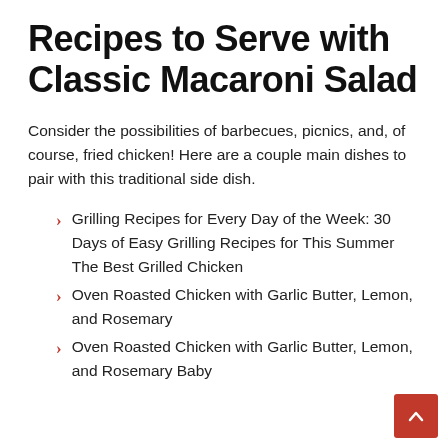Recipes to Serve with Classic Macaroni Salad
Consider the possibilities of barbecues, picnics, and, of course, fried chicken! Here are a couple main dishes to pair with this traditional side dish.
Grilling Recipes for Every Day of the Week: 30 Days of Easy Grilling Recipes for This Summer The Best Grilled Chicken
Oven Roasted Chicken with Garlic Butter, Lemon, and Rosemary
Oven Roasted Chicken with Garlic Butter, Lemon, and Rosemary Baby